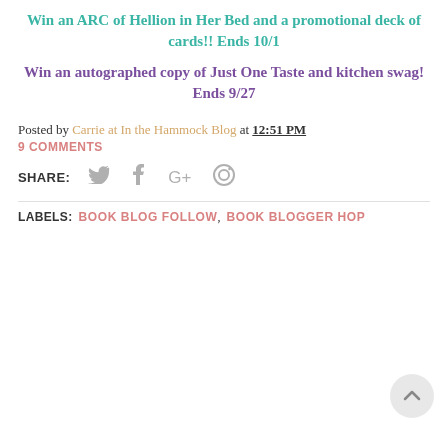Win an ARC of Hellion in Her Bed and a promotional deck of cards!! Ends 10/1
Win an autographed copy of Just One Taste and kitchen swag! Ends 9/27
Posted by Carrie at In the Hammock Blog at 12:51 PM
9 COMMENTS
SHARE:
LABELS:  BOOK BLOG FOLLOW,  BOOK BLOGGER HOP